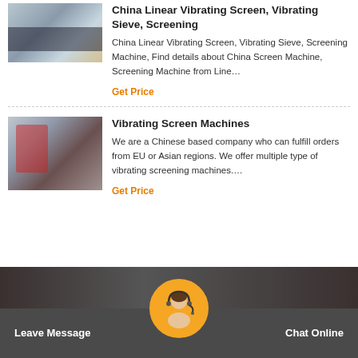China Linear Vibrating Screen, Vibrating Sieve, Screening
[Figure (photo): Industrial screening machine in warehouse setting]
China Linear Vibrating Screen, Vibrating Sieve, Screening Machine, Find details about China Screen Machine, Screening Machine from Line…
Get Price
Vibrating Screen Machines
[Figure (photo): Red industrial vibrating screen machines in factory]
We are a Chinese based company who can fulfill orders from EU or Asian regions. We offer multiple type of vibrating screening machines.…
Get Price
[Figure (photo): Customer service representative avatar with headset]
Leave Message   Chat Online